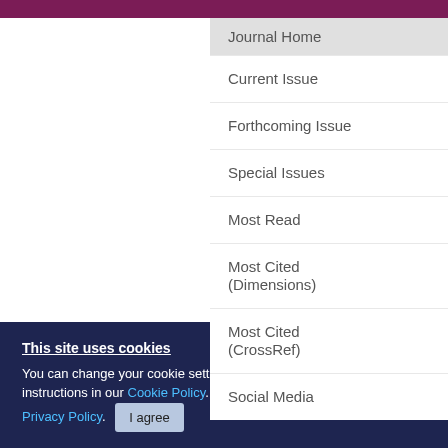Journal Home
Current Issue
Forthcoming Issue
Special Issues
Most Read
Most Cited (Dimensions)
Most Cited (CrossRef)
Social Media
Nimot... radios... cell ca...
Authors:
View Affil...
Published...
Pages: 94...
This site uses cookies
You can change your cookie settings at any time by following the instructions in our Cookie Policy. To find out more, you may read our Privacy Policy.